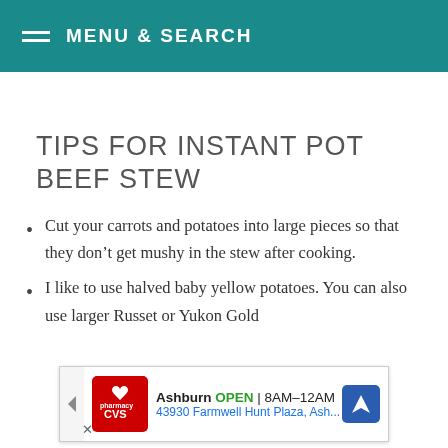MENU & SEARCH
TIPS FOR INSTANT POT BEEF STEW
Cut your carrots and potatoes into large pieces so that they don't get mushy in the stew after cooking.
I like to use halved baby yellow potatoes. You can also use larger Russet or Yukon Gold ...
[Figure (other): Advertisement banner for CVS Pharmacy in Ashburn, showing OPEN 8AM-12AM, 43930 Farmwell Hunt Plaza, Ash...]